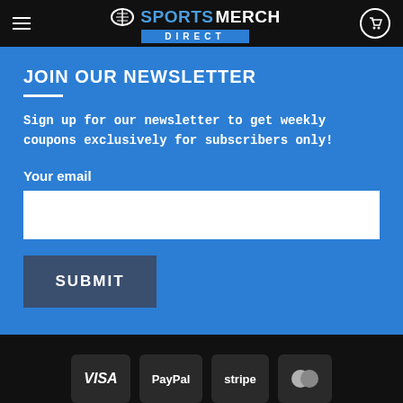[Figure (logo): SportsMerch Direct logo and navigation bar with hamburger menu and cart icon on black background]
JOIN OUR NEWSLETTER
Sign up for our newsletter to get weekly coupons exclusively for subscribers only!
Your email
[Figure (screenshot): Email input text field (white rectangle)]
[Figure (screenshot): SUBMIT button (dark blue-grey rectangle)]
[Figure (screenshot): Payment icons: VISA, PayPal, stripe, MasterCard on dark background]
Copyright 2022 © SportMerchDirect.com